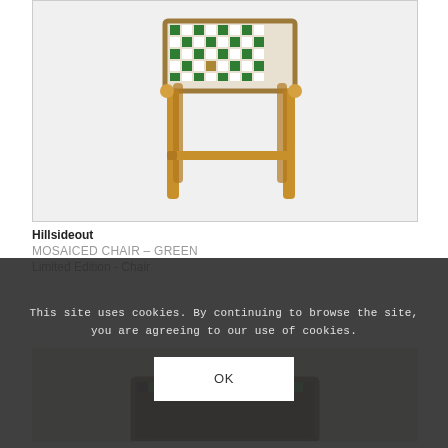[Figure (photo): A wooden chair with a mosaic green patterned seat, light wood frame with four legs and horizontal stretchers, photographed on a white background]
Hillsideout
MOSAICED CHAIR – GREEN
Limited Edition - Chair
[Figure (photo): Bottom portion of a dark-colored product, partially visible, cut off by cookie banner overlay]
This site uses cookies. By continuing to browse the site, you are agreeing to our use of cookies.
OK